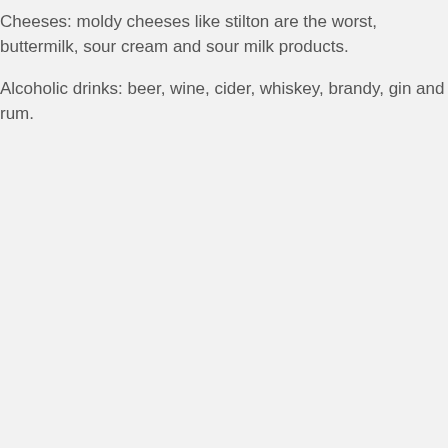Cheeses: moldy cheeses like stilton are the worst, buttermilk, sour cream and sour milk products.
Alcoholic drinks: beer, wine, cider, whiskey, brandy, gin and rum.